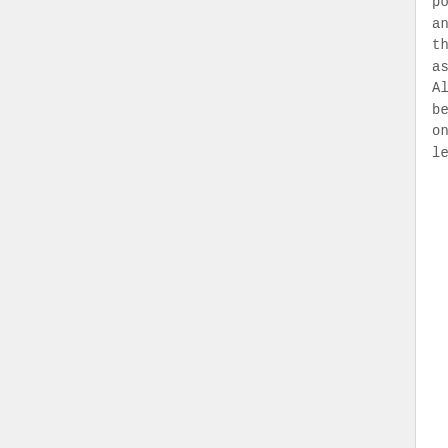point scale. We found that male and female pictures with shorter than average legs were perceived as less attractive by both sexes. Although longer legs appeared to be more attractive, this was true only for the slight (5%) leg length increase; excessively long